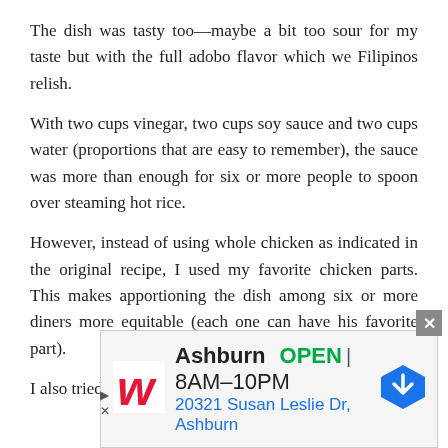The dish was tasty too—maybe a bit too sour for my taste but with the full adobo flavor which we Filipinos relish.
With two cups vinegar, two cups soy sauce and two cups water (proportions that are easy to remember), the sauce was more than enough for six or more people to spoon over steaming hot rice.
However, instead of using whole chicken as indicated in the original recipe, I used my favorite chicken parts. This makes apportioning the dish among six or more diners more equitable (each one can have his favorite part).
I also tried cooking this using pork instead of chicken an
[Figure (other): Walgreens advertisement banner showing store location in Ashburn, OPEN 8AM-10PM, 20321 Susan Leslie Dr, Ashburn, with Walgreens logo and navigation icon]